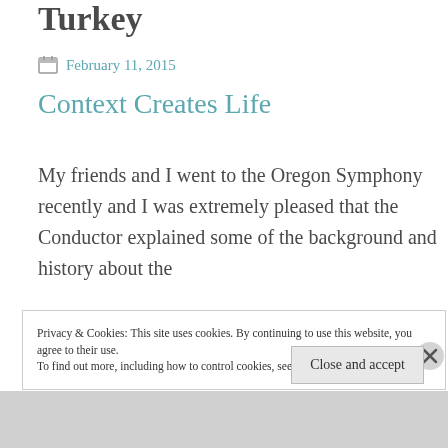Turkey
February 11, 2015
Context Creates Life
My friends and I went to the Oregon Symphony recently and I was extremely pleased that the Conductor explained some of the background and history about the
Privacy & Cookies: This site uses cookies. By continuing to use this website, you agree to their use.
To find out more, including how to control cookies, see here: Cookie Policy
Close and accept